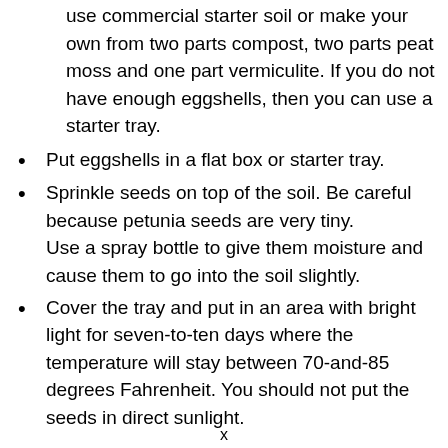use commercial starter soil or make your own from two parts compost, two parts peat moss and one part vermiculite. If you do not have enough eggshells, then you can use a starter tray.
Put eggshells in a flat box or starter tray.
Sprinkle seeds on top of the soil. Be careful because petunia seeds are very tiny. Use a spray bottle to give them moisture and cause them to go into the soil slightly.
Cover the tray and put in an area with bright light for seven-to-ten days where the temperature will stay between 70-and-85 degrees Fahrenheit. You should not put the seeds in direct sunlight.
x